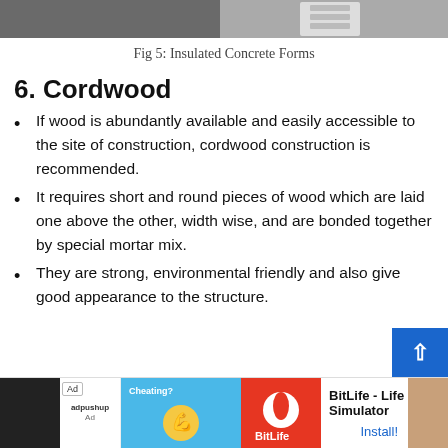[Figure (photo): Top portion of an image showing insulated concrete forms construction]
Fig 5: Insulated Concrete Forms
6. Cordwood
If wood is abundantly available and easily accessible to the site of construction, cordwood construction is recommended.
It requires short and round pieces of wood which are laid one above the other, width wise, and are bonded together by special mortar mix.
They are strong, environmental friendly and also give good appearance to the structure.
[Figure (screenshot): Advertisement banner: adpushup Ad with BitLife - Life Simulator app install ad]